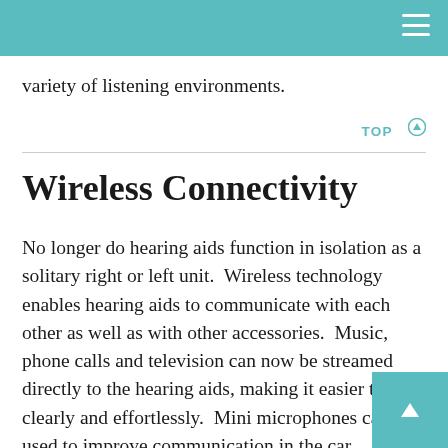variety of listening environments.
TOP ⊙
Wireless Connectivity
No longer do hearing aids function in isolation as a solitary right or left unit.  Wireless technology enables hearing aids to communicate with each other as well as with other accessories.  Music, phone calls and television can now be streamed directly to the hearing aids, making it easier to hear clearly and effortlessly.  Mini microphones can be used to improve communication in the car, conference room or at family gatherings. Remote controls allow the user to make adjustments such as volume changes or